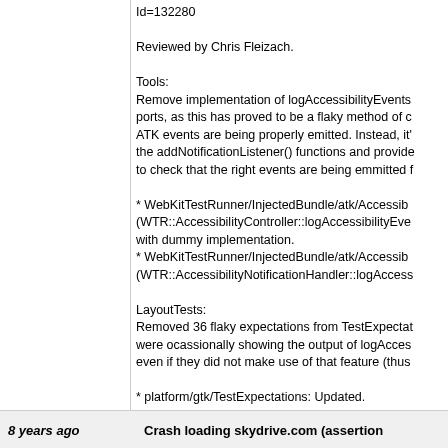Id=132280

Reviewed by Chris Fleizach.

Tools:
Remove implementation of logAccessibilityEvents ports, as this has proved to be a flaky method of checking ATK events are being properly emitted. Instead, it's the addNotificationListener() functions and provide to check that the right events are being emmitted f

* WebKitTestRunner/InjectedBundle/atk/AccessibiliController::logAccessibilityEve with dummy implementation.
* WebKitTestRunner/InjectedBundle/atk/Accessib (WTR::AccessibilityNotificationHandler::logAccess

LayoutTests:
Removed 36 flaky expectations from TestExpectat were ocassionally showing the output of logAcces even if they did not make use of that feature (thus

* platform/gtk/TestExpectations: Updated.

git-svn-id: https://svn.webkit.org/repository/webkit/trunk@ cd09-0410-ab3c-d52691b4dbfc
8 years ago    Crash loading skydrive.com (assertion